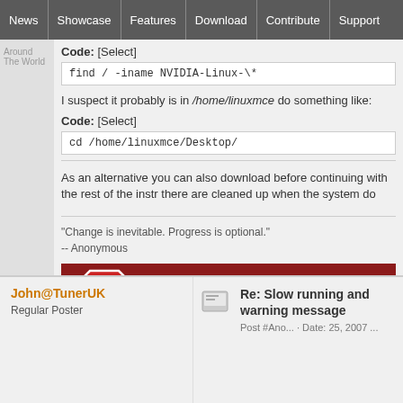News | Showcase | Features | Download | Contribute | Support
Around The World
Code: [Select]
find / -iname NVIDIA-Linux-\*
I suspect it probably is in /home/linuxmce do something like:
Code: [Select]
cd /home/linuxmce/Desktop/
As an alternative you can also download before continuing with the rest of the instr there are cleaned up when the system do
"Change is inevitable. Progress is optional." -- Anonymous
[Figure (infographic): Stop Software Patents banner with red octagon stop sign and white bold text reading STOP SOFTWARE PATE...]
John@TunerUK
Regular Poster
Re: Slow running and warning message